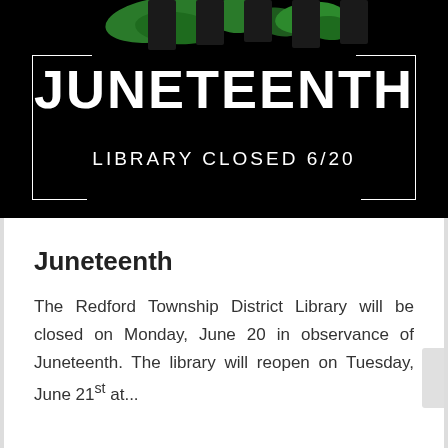[Figure (infographic): Black background banner with green paint splashes at top. White bordered rectangle containing bold white text 'JUNETEENTH' and below it 'LIBRARY CLOSED 6/20'.]
Juneteenth
The Redford Township District Library will be closed on Monday, June 20 in observance of Juneteenth. The library will reopen on Tuesday, June 21st at...